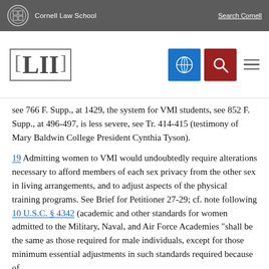Cornell Law School | Search Cornell
[Figure (logo): LII (Legal Information Institute) Cornell Law School website header with logo, grid icon, search icon, and hamburger menu]
see 766 F. Supp., at 1429, the system for VMI students, see 852 F. Supp., at 496-497, is less severe, see Tr. 414-415 (testimony of Mary Baldwin College President Cynthia Tyson).
19 Admitting women to VMI would undoubtedly require alterations necessary to afford members of each sex privacy from the other sex in living arrangements, and to adjust aspects of the physical training programs. See Brief for Petitioner 27-29; cf. note following 10 U.S.C. § 4342 (academic and other standards for women admitted to the Military, Naval, and Air Force Academies "shall be the same as those required for male individuals, except for those minimum essential adjustments in such standards required because of